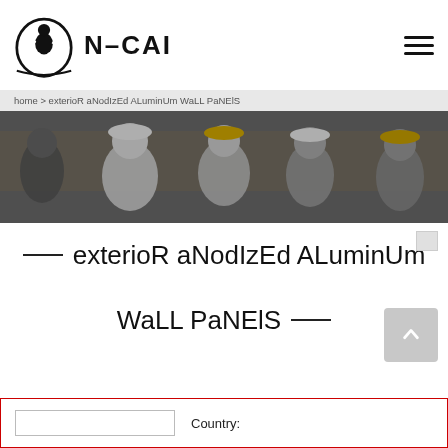[Figure (logo): N-CAI company logo with stylized figure inside circle and N-CAI text]
home > exterioR aNodIzEd ALuminUm WaLL PaNElS
[Figure (photo): Group of construction workers wearing hard hats smiling at camera]
exterioR aNodIzEd ALuminUm WaLL PaNElS
Country: